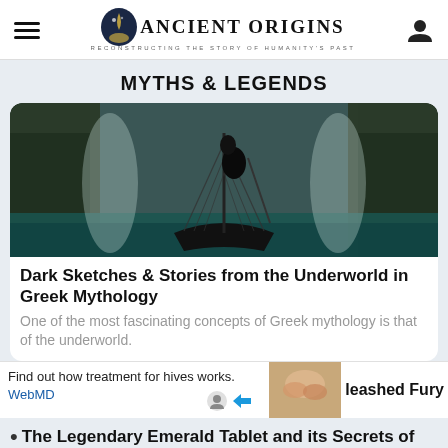Ancient Origins — Reconstructing the Story of Humanity's Past
MYTHS & LEGENDS
[Figure (photo): Dark atmospheric image of a Viking longship on dark water between rocky cliffs with mist and stormy sky]
Dark Sketches & Stories from the Underworld in Greek Mythology
One of the most fascinating concepts of Greek mythology is that of the underworld.
Find out how treatment for hives works. WebMD
[Figure (photo): Partial thumbnail image of hands, part of an advertisement]
leashed Fury
The Legendary Emerald Tablet and its Secrets of the Universe